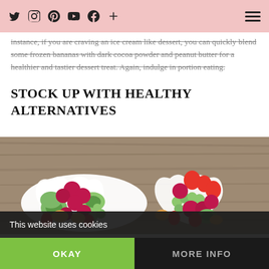Social media icons: Twitter, Instagram, Pinterest, YouTube, Facebook, Plus; Hamburger menu
instance, if you are craving an ice cream like dessert, you can quickly blend some frozen bananas with dark cocoa powder and peanut butter for a healthier and tastier dessert treat. Again, indulge in portion eating.
STOCK UP WITH HEALTHY ALTERNATIVES
[Figure (photo): Two heart-shaped white bowls filled with mixed fresh fruit including raspberries, strawberries, kiwi, grapes, and melon, placed on a rustic wooden surface.]
This website uses cookies
OKAY
MORE INFO